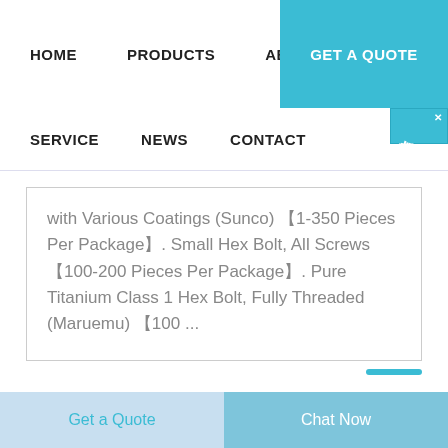HOME   PRODUCTS   ABOUT   GET A QUOTE
SERVICE   NEWS   CONTACT
with Various Coatings (Sunco) 【1-350 Pieces Per Package】. Small Hex Bolt, All Screws 【100-200 Pieces Per Package】. Pure Titanium Class 1 Hex Bolt, Fully Threaded (Maruemu) 【100 ...
Get a Quote   Chat Now